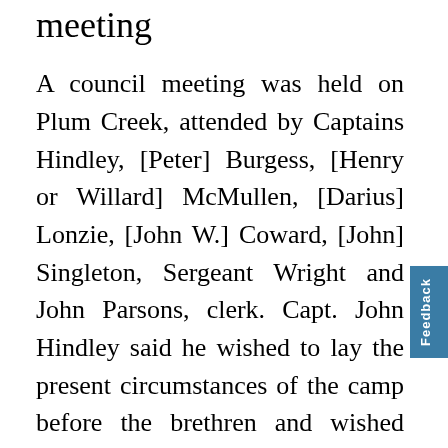meeting
A council meeting was held on Plum Creek, attended by Captains Hindley, [Peter] Burgess, [Henry or Willard] McMullen, [Darius] Lonzie, [John W.] Coward, [John] Singleton, Sergeant Wright and John Parsons, clerk. Capt. John Hindley said he wished to lay the present circumstances of the camp before the brethren and wished them to speak freely their sentiments so that unity of action might be obtained in regard to our future proceedings. He said some captains had two counselors, and with them alone managed all the affairs of their camps. He had made all the officers of his camp his counselors and wished to honor them in their positions, and now wanted